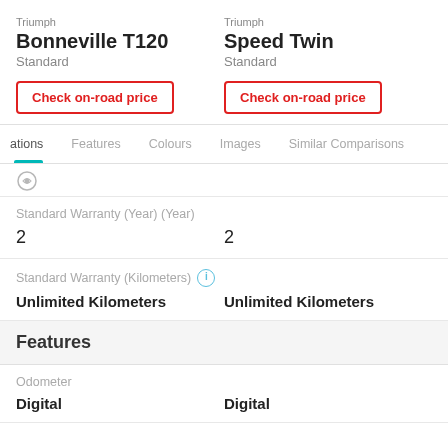Triumph
Bonneville T120
Standard
Triumph
Speed Twin
Standard
Check on-road price
Check on-road price
ations  Features  Colours  Images  Similar Comparisons
Standard Warranty (Year) (Year)
2  2
Standard Warranty (Kilometers)
Unlimited Kilometers  Unlimited Kilometers
Features
Odometer
Digital  Digital